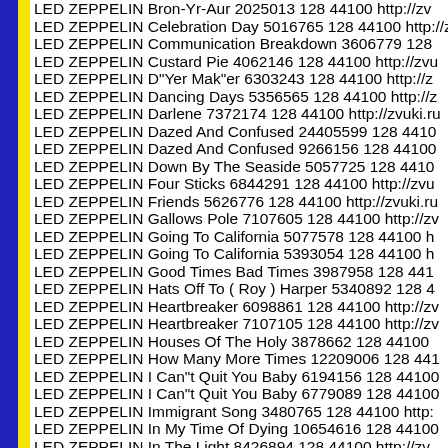LED ZEPPELIN Bron-Yr-Aur 2025013 128 44100 http://zv
LED ZEPPELIN Celebration Day 5016765 128 44100 http://zv
LED ZEPPELIN Communication Breakdown 3606779 128
LED ZEPPELIN Custard Pie 4062146 128 44100 http://zvu
LED ZEPPELIN D"Yer Mak"er 6303243 128 44100 http://z
LED ZEPPELIN Dancing Days 5356565 128 44100 http://z
LED ZEPPELIN Darlene 7372174 128 44100 http://zvuki.ru
LED ZEPPELIN Dazed And Confused 24405599 128 4410
LED ZEPPELIN Dazed And Confused 9266156 128 44100
LED ZEPPELIN Down By The Seaside 5057725 128 4410
LED ZEPPELIN Four Sticks 6844291 128 44100 http://zvu
LED ZEPPELIN Friends 5626776 128 44100 http://zvuki.ru
LED ZEPPELIN Gallows Pole 7107605 128 44100 http://zv
LED ZEPPELIN Going To California 5077578 128 44100 h
LED ZEPPELIN Going To California 5393054 128 44100 h
LED ZEPPELIN Good Times Bad Times 3987958 128 441
LED ZEPPELIN Hats Off To ( Roy ) Harper 5340892 128 4
LED ZEPPELIN Heartbreaker 6098861 128 44100 http://zv
LED ZEPPELIN Heartbreaker 7107105 128 44100 http://zv
LED ZEPPELIN Houses Of The Holy 3878662 128 44100
LED ZEPPELIN How Many More Times 12209006 128 441
LED ZEPPELIN I Can"t Quit You Baby 6194156 128 44100
LED ZEPPELIN I Can"t Quit You Baby 6779089 128 44100
LED ZEPPELIN Immigrant Song 3480765 128 44100 http:
LED ZEPPELIN In My Time Of Dying 10654616 128 44100
LED ZEPPELIN In The Light 8426894 128 44100 http://zv